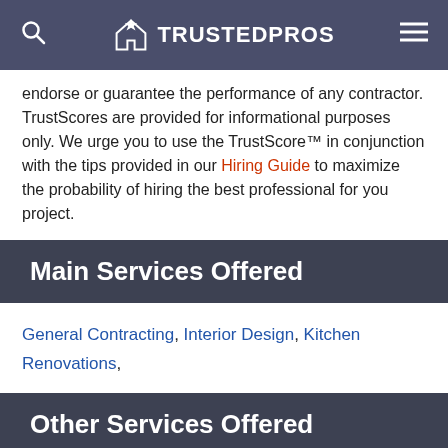TRUSTEDPROS
endorse or guarantee the performance of any contractor. TrustScores are provided for informational purposes only. We urge you to use the TrustScore™ in conjunction with the tips provided in our Hiring Guide to maximize the probability of hiring the best professional for you project.
Main Services Offered
General Contracting, Interior Design, Kitchen Renovations,
Other Services Offered